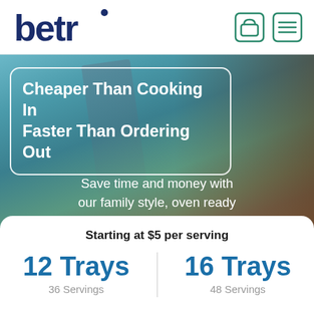[Figure (logo): betr logo in dark navy blue with a dot above the r, top left of header]
[Figure (illustration): Shopping bag icon (green outline) and hamburger menu icon (green outline), top right header icons]
[Figure (photo): Hero background image showing meal prep trays with meat, green beans, and other foods, with blue-teal gradient overlay]
Cheaper Than Cooking In
Faster Than Ordering Out
Save time and money with our family style, oven ready meals
Starting at $5 per serving
12 Trays
36 Servings
16 Trays
48 Servings